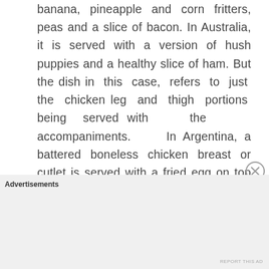banana, pineapple and corn fritters, peas and a slice of bacon. In Australia, it is served with a version of hush puppies and a healthy slice of ham. But the dish in this case, refers to just the chicken leg and thigh portions being served with the accompaniments. In Argentina, a battered boneless chicken breast or cutlet is served with a fried egg on top and creamed corn on the side. Where or how these variations which differ so widely came from or
Advertisements